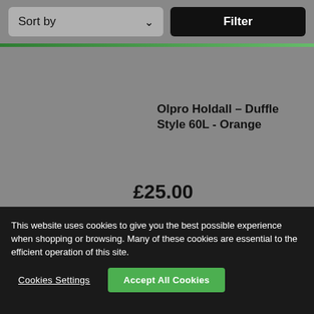Sort by
Filter
ONLINE EXCLUSIVE
Olpro Holdall – Duffle Style 60L - Orange
£25.00
This website uses cookies to give you the best possible experience when shopping or browsing. Many of these cookies are essential to the efficient operation of this site.
Cookies Settings
Accept All Cookies